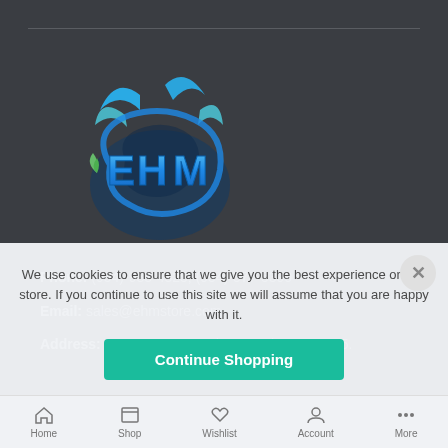[Figure (logo): EHM store logo — blue water splash with 'EHM' text in blue gradient letters and a green leaf accent, on dark background]
Phone:  (954)-983-4325, (954)-577-5390
Email:  sales@ehmstore.com
Address:  11352 W State Rd 84, Davie, FL 33325.
We use cookies to ensure that we give you the best experience on our store. If you continue to use this site we will assume that you are happy with it.
Continue Shopping
Home  Shop  Wishlist  Account  More